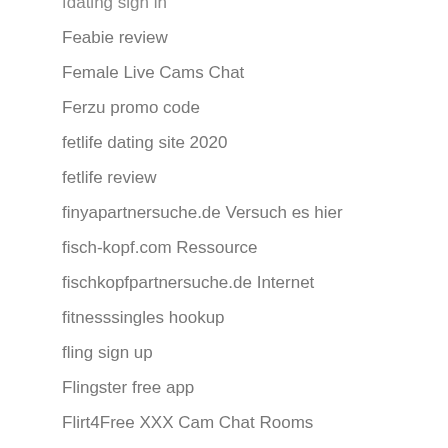fdating sign in
Feabie review
Female Live Cams Chat
Ferzu promo code
fetlife dating site 2020
fetlife review
finyapartnersuche.de Versuch es hier
fisch-kopf.com Ressource
fischkopfpartnersuche.de Internet
fitnesssingles hookup
fling sign up
Flingster free app
Flirt4Free XXX Cam Chat Rooms
FlirtFair kostenlos
flirthwith log in
FlirtyMania Webcam Chat
Flirtymania.C